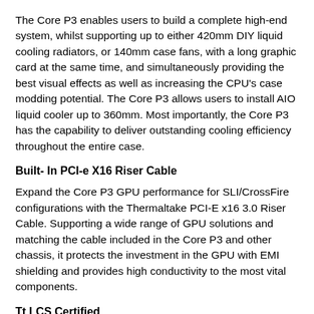The Core P3 enables users to build a complete high-end system, whilst supporting up to either 420mm DIY liquid cooling radiators, or 140mm case fans, with a long graphic card at the same time, and simultaneously providing the best visual effects as well as increasing the CPU's case modding potential. The Core P3 allows users to install AIO liquid cooler up to 360mm. Most importantly, the Core P3 has the capability to deliver outstanding cooling efficiency throughout the entire case.
Built- In PCI-e X16 Riser Cable
Expand the Core P3 GPU performance for SLI/CrossFire configurations with the Thermaltake PCI-E x16 3.0 Riser Cable. Supporting a wide range of GPU solutions and matching the cable included in the Core P3 and other chassis, it protects the investment in the GPU with EMI shielding and provides high conductivity to the most vital components.
Tt LCS Certified
Tt LCS Certified is a Thermaltake exclusive certification applied only to products that pass the design standards of hardcore enthusiasts. The Tt LCS certification was created